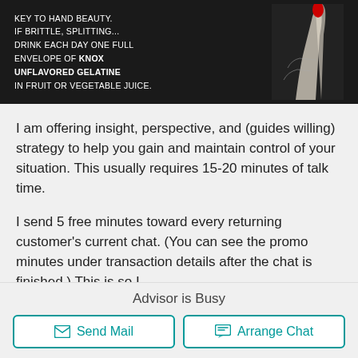[Figure (illustration): Vintage advertisement image on dark background showing nails with text promoting Knox Unflavored Gelatine as key to hand beauty. Text reads: KEY TO HAND BEAUTY. IF BRITTLE, SPLITTING... DRINK EACH DAY ONE FULL ENVELOPE OF KNOX UNFLAVORED GELATINE IN FRUIT OR VEGETABLE JUICE. A red painted fingernail illustration is shown on the right side.]
I am offering insight, perspective, and (guides willing) strategy to help you gain and maintain control of your situation. This usually requires 15-20 minutes of talk time.
I send 5 free minutes toward every returning customer's current chat. (You can see the promo minutes under transaction details after the chat is finished.) This is so I
Read more ›
Advisor is Busy
Send Mail
Arrange Chat